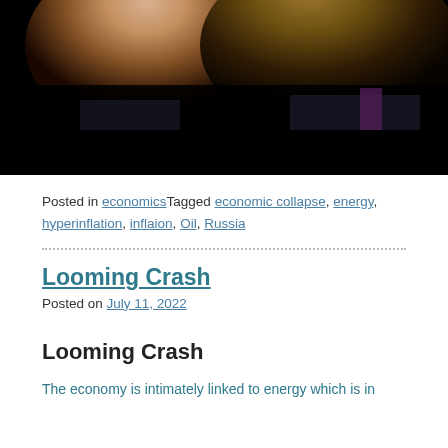[Figure (photo): Two people smiling, cropped — woman on left with jewelry, man in suit on right with purple tie, against dark background]
Posted in economics Tagged economic collapse, energy, hyperinflation, inflaion, Oil, Russia
Looming Crash
Posted on July 11, 2022
Looming Crash
The economy is intimately linked to energy which is in